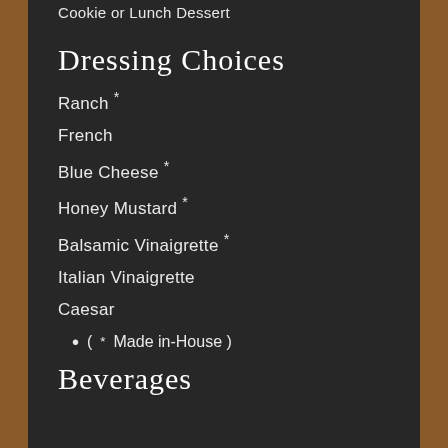Cookie or Lunch Dessert
Dressing Choices
Ranch *
French
Blue Cheese *
Honey Mustard *
Balsamic Vinaigrette *
Italian Vinaigrette
Caesar
( * Made in-House )
Beverages